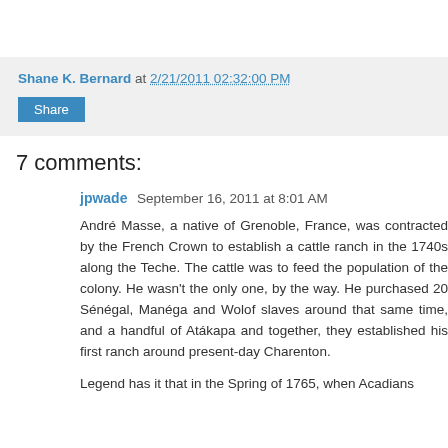Shane K. Bernard at 2/21/2011 02:32:00 PM
Share
7 comments:
jpwade September 16, 2011 at 8:01 AM
André Masse, a native of Grenoble, France, was contracted by the French Crown to establish a cattle ranch in the 1740s along the Teche. The cattle was to feed the population of the colony. He wasn't the only one, by the way. He purchased 20 Sénégal, Manéga and Wolof slaves around that same time, and a handful of Atákapa and together, they established his first ranch around present-day Charenton.
Legend has it that in the Spring of 1765, when Acadians